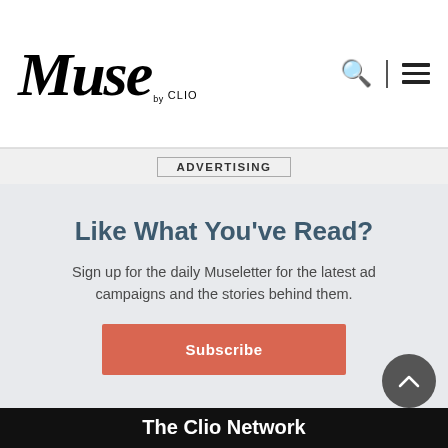[Figure (logo): Muse by CLIO logo in italic script with navigation icons (search and hamburger menu)]
ADVERTISING
Like What You've Read?
Sign up for the daily Museletter for the latest ad campaigns and the stories behind them.
Subscribe
The Clio Network